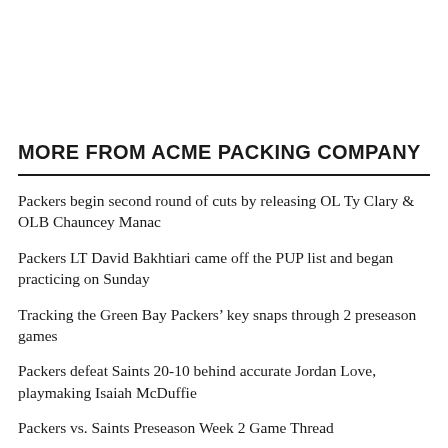MORE FROM ACME PACKING COMPANY
Packers begin second round of cuts by releasing OL Ty Clary & OLB Chauncey Manac
Packers LT David Bakhtiari came off the PUP list and began practicing on Sunday
Tracking the Green Bay Packers’ key snaps through 2 preseason games
Packers defeat Saints 20-10 behind accurate Jordan Love, playmaking Isaiah McDuffie
Packers vs. Saints Preseason Week 2 Game Thread
The Repack: Looking back at preseason Week 1 and